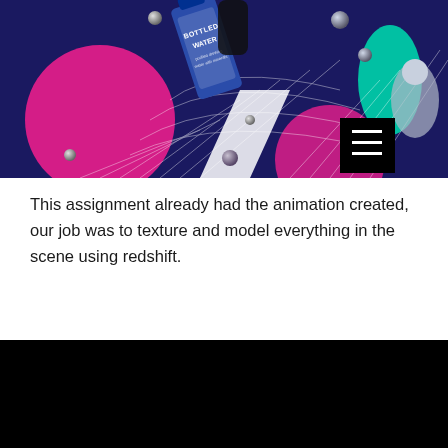[Figure (photo): A colorful 3D rendered scene featuring a bottled water product (labeled 'BOTTLED WATER') surrounded by pink circles, teal organic shapes, metallic spheres, dark blue background with white grid lines, and a black menu button with three white horizontal lines in the bottom-right corner.]
This assignment already had the animation created, our job was to texture and model everything in the scene using redshift.
[Figure (screenshot): A black rectangular area representing a video player or dark render output.]